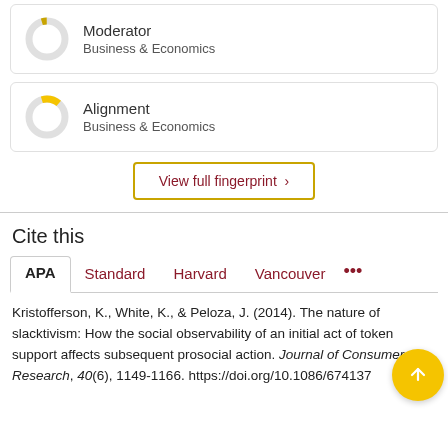[Figure (other): Donut chart icon for Moderator - Business & Economics keyword card]
Moderator
Business & Economics
[Figure (other): Donut chart icon for Alignment - Business & Economics keyword card]
Alignment
Business & Economics
View full fingerprint ›
Cite this
APA  Standard  Harvard  Vancouver  •••
Kristofferson, K., White, K., & Peloza, J. (2014). The nature of slacktivism: How the social observability of an initial act of token support affects subsequent prosocial action. Journal of Consumer Research, 40(6), 1149-1166. https://doi.org/10.1086/674137